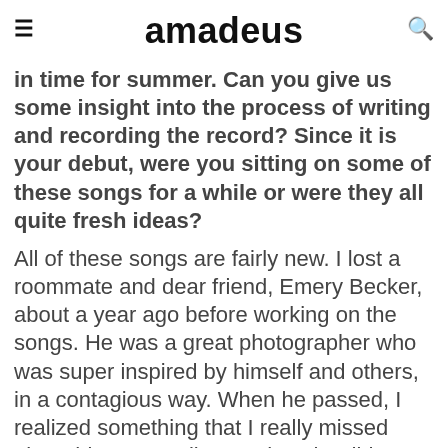amadeus
in time for summer. Can you give us some insight into the process of writing and recording the record? Since it is your debut, were you sitting on some of these songs for a while or were they all quite fresh ideas?
All of these songs are fairly new. I lost a roommate and dear friend, Emery Becker, about a year ago before working on the songs. He was a great photographer who was super inspired by himself and others, in a contagious way. When he passed, I realized something that I really missed about his personality was how he didn't wait for anyone to give him permission. I decided to reach out to all of the collaborators that he was written to work with